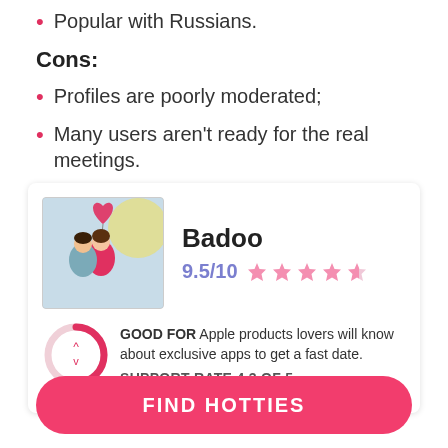Popular with Russians.
Cons:
Profiles are poorly moderated;
Many users aren't ready for the real meetings.
[Figure (infographic): Badoo dating app card with couple photo, 9.5/10 rating with 4.5 stars, 51% donut chart, GOOD FOR Apple products lovers will know about exclusive apps to get a fast date. SUPPORT RATE 4.3 of 5]
FIND HOTTIES